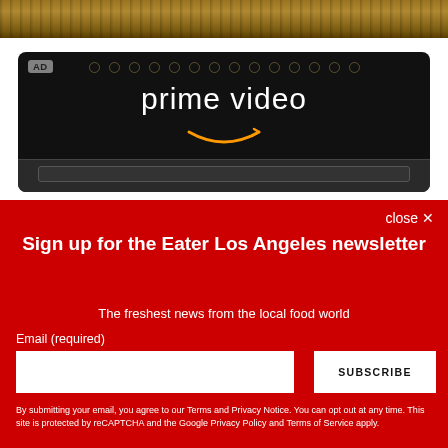[Figure (photo): Top portion of a wooden surface or table, brown toned photograph cropped at top]
[Figure (screenshot): Amazon Prime Video advertisement banner on dark background with decorative dots pattern, white Prime Video logo and Amazon arrow]
close ✕
Sign up for the Eater Los Angeles newsletter
The freshest news from the local food world
Email (required)
SUBSCRIBE
By submitting your email, you agree to our Terms and Privacy Notice. You can opt out at any time. This site is protected by reCAPTCHA and the Google Privacy Policy and Terms of Service apply.